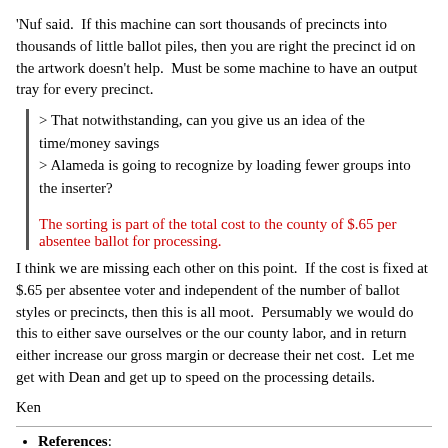'Nuf said.  If this machine can sort thousands of precincts into thousands of little ballot piles, then you are right the precinct id on the artwork doesn't help.  Must be some machine to have an output tray for every precinct.
> That notwithstanding, can you give us an idea of the time/money savings
> Alameda is going to recognize by loading fewer groups into the inserter?

The sorting is part of the total cost to the county of $.65 per absentee ballot for processing.
I think we are missing each other on this point.  If the cost is fixed at $.65 per absentee voter and independent of the number of ballot styles or precincts, then this is all moot.  Persumably we would do this to either save ourselves or the our county labor, and in return either increase our gross margin or decrease their net cost.  Let me get with Dean and get up to speed on the processing details.
Ken
References:
Re: Absentee Header Cards? for GEMS